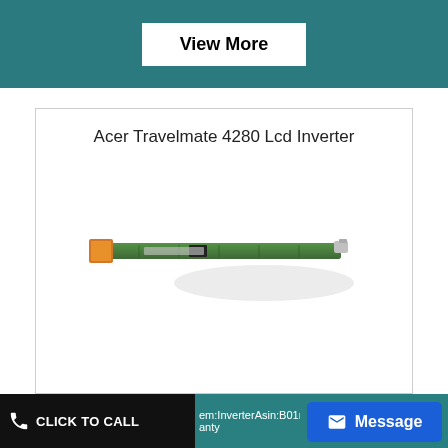[Figure (screenshot): Teal/dark cyan banner with a 'View More' button in white rectangle with bold black text]
Acer Travelmate 4280 Lcd Inverter
[Figure (photo): Photo of an Acer Travelmate 4280 LCD Inverter board — a long thin green PCB with an orange connector on the left end]
em:InverterAsin:B01mz6yozb anty